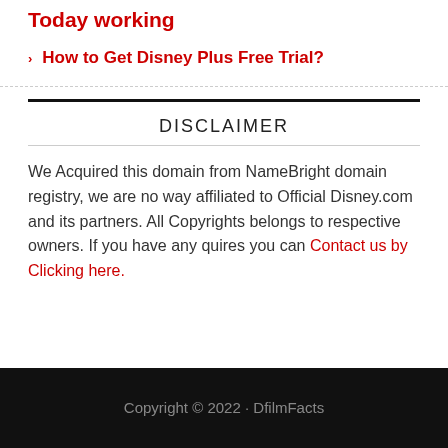Today working
How to Get Disney Plus Free Trial?
DISCLAIMER
We Acquired this domain from NameBright domain registry, we are no way affiliated to Official Disney.com and its partners. All Copyrights belongs to respective owners. If you have any quires you can Contact us by Clicking here.
Copyright © 2022 · DfilmFacts